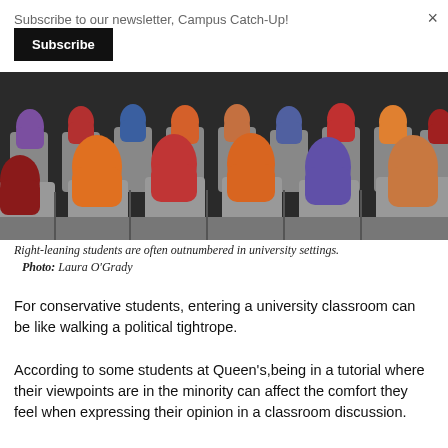Subscribe to our newsletter, Campus Catch-Up!
Subscribe
[Figure (illustration): Illustration of colorful silhouettes of students (orange, red, blue, purple) seated in rows of grey lecture hall chairs, viewed from behind.]
Right-leaning students are often outnumbered in university settings. Photo: Laura O'Grady
For conservative students, entering a university classroom can be like walking a political tightrope.
According to some students at Queen's,being in a tutorial where their viewpoints are in the minority can affect the comfort they feel when expressing their opinion in a classroom discussion.